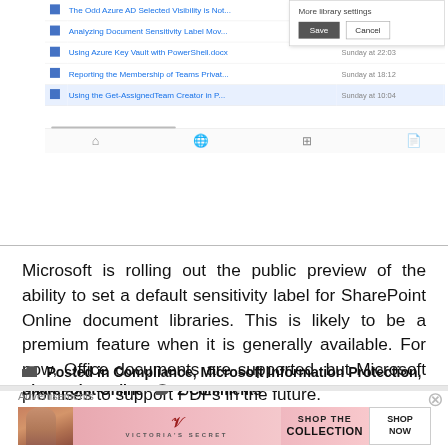[Figure (screenshot): Screenshot of a SharePoint Online document library interface showing a list of documents with titles like 'The Odd Azure AD Selected Visibility is Not...', 'Analyzing Document Sensitivity Label Mov...', 'Using Azure Key Vault with PowerShell.docx', 'Reporting the Membership of Teams Privat...', 'Using the Get-AssignedTeam Creator in P...', alongside a Save/Cancel dialog with 'More library settings' label and a navigation bar at the bottom.]
Microsoft is rolling out the public preview of the ability to set a default sensitivity label for SharePoint Online document libraries. This is likely to be a premium feature when it is generally available. For now, Office documents are supported, but Microsoft promises to support PDFs in the future.
Posted in Compliance, Microsoft Information Protection, SharePoint Online  2 Comments
Advertisements
[Figure (photo): Victoria's Secret advertisement banner: 'SHOP THE COLLECTION' with SHOP NOW button and Victoria's Secret logo with a model photo on left.]